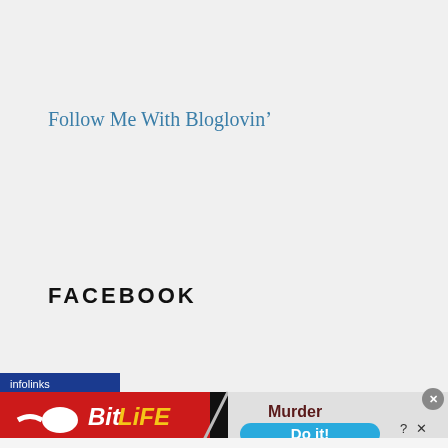Follow Me With Bloglovin’
FACEBOOK
[Figure (screenshot): Advertisement banner: infolinks badge at top left, BitLife game ad with red background showing sperm logo and yellow BiTLiFE text on left, and Murder/Do it! prompt on right panel with blue button]